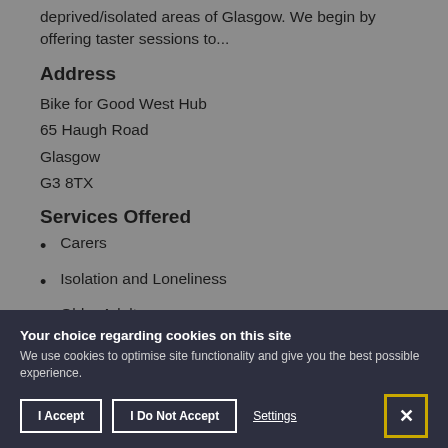deprived/isolated areas of Glasgow. We begin by offering taster sessions to...
Address
Bike for Good West Hub
65 Haugh Road
Glasgow
G3 8TX
Services Offered
Carers
Isolation and Loneliness
Older Adults
Your choice regarding cookies on this site
We use cookies to optimise site functionality and give you the best possible experience.
I Accept | I Do Not Accept | Settings | X